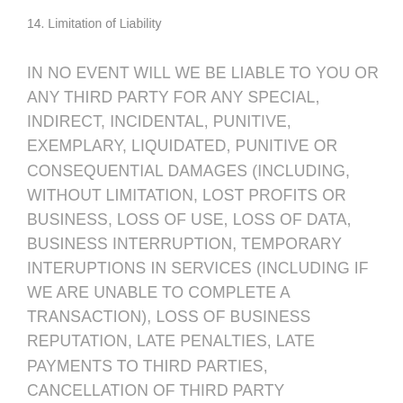14. Limitation of Liability
IN NO EVENT WILL WE BE LIABLE TO YOU OR ANY THIRD PARTY FOR ANY SPECIAL, INDIRECT, INCIDENTAL, PUNITIVE, EXEMPLARY, LIQUIDATED, PUNITIVE OR CONSEQUENTIAL DAMAGES (INCLUDING, WITHOUT LIMITATION, LOST PROFITS OR BUSINESS, LOSS OF USE, LOSS OF DATA, BUSINESS INTERRUPTION, TEMPORARY INTERUPTIONS IN SERVICES (INCLUDING IF WE ARE UNABLE TO COMPLETE A TRANSACTION), LOSS OF BUSINESS REPUTATION, LATE PENALTIES, LATE PAYMENTS TO THIRD PARTIES, CANCELLATION OF THIRD PARTY CONTRACTS OR LOSS OF GOODWILL), OR THE COSTS OF PROCURING SUBSTITUTE PRODUCTS, ARISING OUT OF OR IN CONNECTION WITH THESE TERMS OF SERVICE, THE SITES, THE SERVICES, YOUR USE